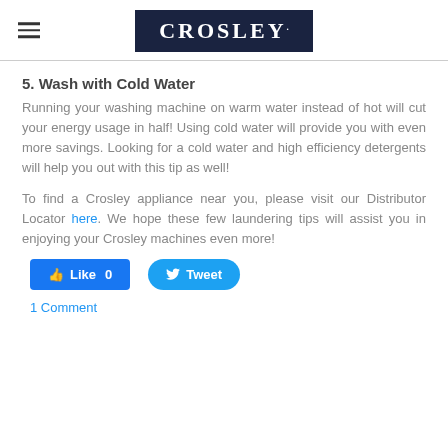CROSLEY
5. Wash with Cold Water
Running your washing machine on warm water instead of hot will cut your energy usage in half! Using cold water will provide you with even more savings. Looking for a cold water and high efficiency detergents will help you out with this tip as well!
To find a Crosley appliance near you, please visit our Distributor Locator here. We hope these few laundering tips will assist you in enjoying your Crosley machines even more!
Like 0   Tweet
1 Comment